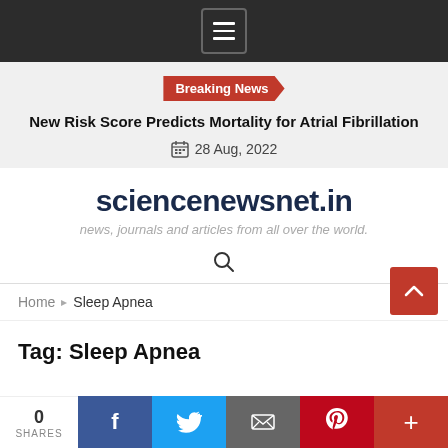Navigation menu icon
Breaking News
New Risk Score Predicts Mortality for Atrial Fibrillation
28 Aug, 2022
sciencenewsnet.in
news, journals and articles from all over the world.
Home > Sleep Apnea
Tag: Sleep Apnea
0 SHARES  [Facebook] [Twitter] [Email] [Pinterest] [+]